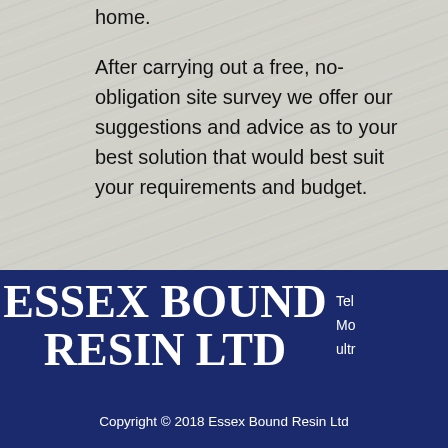home.
After carrying out a free, no-obligation site survey we offer our suggestions and advice as to your best solution that would best suit your requirements and budget.
ESSEX BOUND RESIN LTD
Tel Mo ultr
Copyright © 2018 Essex Bound Resin Ltd